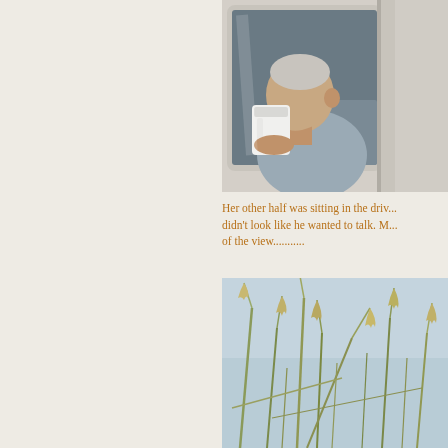[Figure (photo): An elderly man sitting in the driver's seat of a vehicle, seen through the window, drinking from a large white cup/thermos. The vehicle exterior is white.]
Her other half was sitting in the driv... didn't look like he wanted to talk. M... of the view...........
[Figure (photo): Close-up photo of tall grass or reeds (possibly beach grass or wheat) with seed heads against a light blue sky background.]